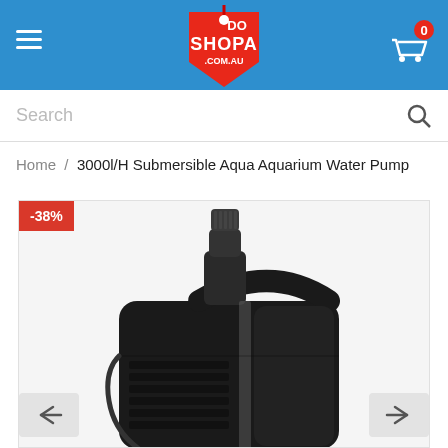SHOPADO .COM.AU
Search
Home / 3000l/H Submersible Aqua Aquarium Water Pump
[Figure (photo): Close-up photo of a black 3000l/H submersible aquarium water pump on a white background, showing outlet nozzle on top and ventilation grilles on the side. A red discount badge showing -38% is in the top-left corner. Navigation arrows (left and right) appear at the bottom corners of the image.]